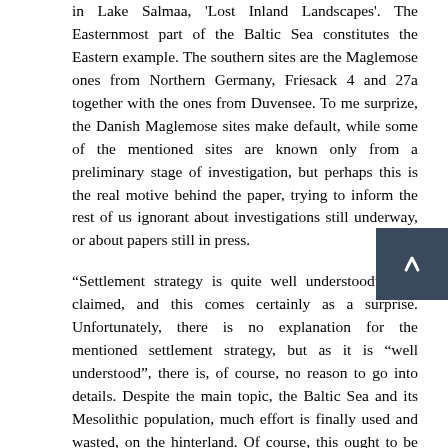in Lake Salmaa, 'Lost Inland Landscapes'. The Easternmost part of the Baltic Sea constitutes the Eastern example. The southern sites are the Maglemose ones from Northern Germany, Friesack 4 and 27a together with the ones from Duvensee. To me surprize, the Danish Maglemose sites make default, while some of the mentioned sites are known only from a preliminary stage of investigation, but perhaps this is the real motive behind the paper, trying to inform the rest of us ignorant about investigations still underway, or about papers still in press.
“Settlement strategy is quite well understood” it is claimed, and this comes certainly as a surprise. Unfortunately, there is no explanation for the mentioned settlement strategy, but as it is “well understood”, there is, of course, no reason to go into details. Despite the main topic, the Baltic Sea and its Mesolithic population, much effort is finally used and wasted, on the hinterland. Of course, this ought to be an important issue, but unfortunately, we are simply told that “marine sites can be located several kilometres from the seashores”. However, I know one from the area, so please enlighten me!
Remain some archaeological expressions à la mode. Central places, what are they? Now I know of only one candidate for this expression, and this will be the two sides of the river Motala